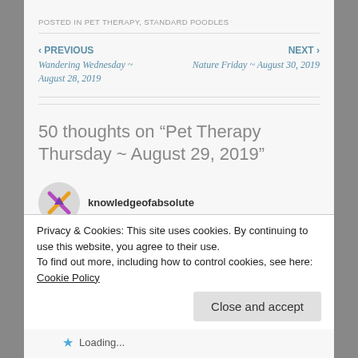POSTED IN PET THERAPY, STANDARD POODLES
‹ PREVIOUS
Wandering Wednesday ~ August 28, 2019
NEXT ›
Nature Friday ~ August 30, 2019
50 thoughts on "Pet Therapy Thursday ~ August 29, 2019"
knowledgeofabsolute
Privacy & Cookies: This site uses cookies. By continuing to use this website, you agree to their use.
To find out more, including how to control cookies, see here: Cookie Policy
Close and accept
Loading...